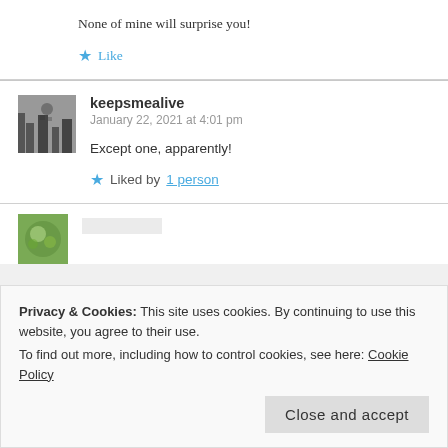None of mine will surprise you!
★ Like
keepsmealive
January 22, 2021 at 4:01 pm
Except one, apparently!
★ Liked by 1 person
Privacy & Cookies: This site uses cookies. By continuing to use this website, you agree to their use. To find out more, including how to control cookies, see here: Cookie Policy
Close and accept
★ Liked by 1 person